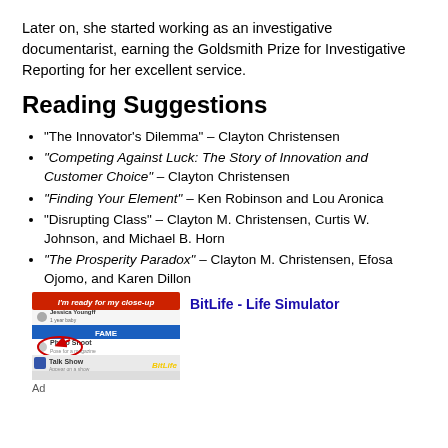Later on, she started working as an investigative documentarist, earning the Goldsmith Prize for Investigative Reporting for her excellent service.
Reading Suggestions
“The Innovator’s Dilemma” – Clayton Christensen
“Competing Against Luck: The Story of Innovation and Customer Choice” – Clayton Christensen
“Finding Your Element” – Ken Robinson and Lou Aronica
“Disrupting Class” – Clayton M. Christensen, Curtis W. Johnson, and Michael B. Horn
“The Prosperity Paradox” – Clayton M. Christensen, Efosa Ojomo, and Karen Dillon
[Figure (screenshot): Advertisement for BitLife - Life Simulator app showing a mobile game screenshot with 'I'm ready for my close-up' banner, Fame menu, Photo Shoot option circled in red, and Talk Show option with BitLife logo.]
Ad